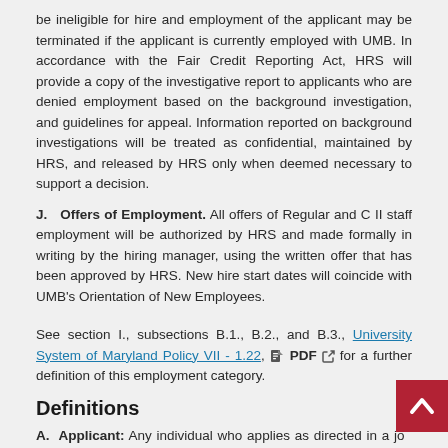be ineligible for hire and employment of the applicant may be terminated if the applicant is currently employed with UMB. In accordance with the Fair Credit Reporting Act, HRS will provide a copy of the investigative report to applicants who are denied employment based on the background investigation, and guidelines for appeal. Information reported on background investigations will be treated as confidential, maintained by HRS, and released by HRS only when deemed necessary to support a decision.
J. Offers of Employment. All offers of Regular and C II staff employment will be authorized by HRS and made formally in writing by the hiring manager, using the written offer that has been approved by HRS. New hire start dates will coincide with UMB's Orientation of New Employees.
See section I., subsections B.1., B.2., and B.3., University System of Maryland Policy VII - 1.22, PDF for a further definition of this employment category.
Definitions
A. Applicant: Any individual who applies as directed in a job posting to a covered position for which the applicant reasonably believes he or she meets the minimum qualifications. The position may be advertised by UMB either directly or indirectly